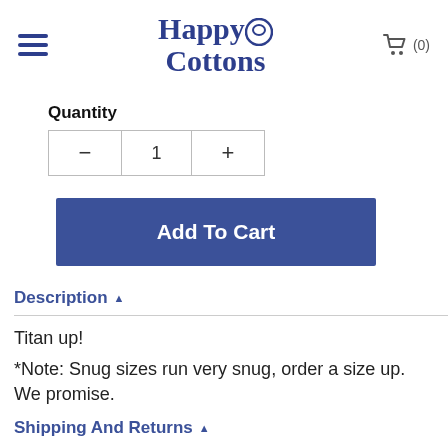Happy Cottons
Quantity
- 1 +
Add To Cart
Description
Titan up!
*Note: Snug sizes run very snug, order a size up. We promise.
Shipping And Returns